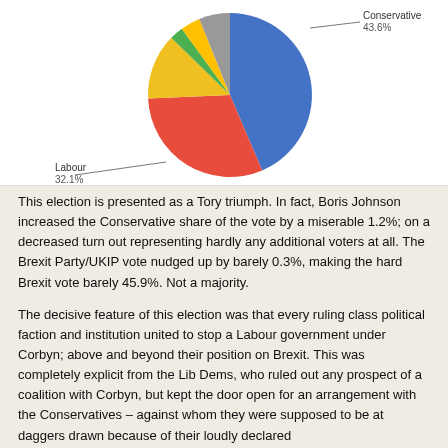[Figure (pie-chart): UK Election Vote Share]
This election is presented as a Tory triumph. In fact, Boris Johnson increased the Conservative share of the vote by a miserable 1.2%; on a decreased turn out representing hardly any additional voters at all. The Brexit Party/UKIP vote nudged up by barely 0.3%, making the hard Brexit vote barely 45.9%. Not a majority.
The decisive feature of this election was that every ruling class political faction and institution united to stop a Labour government under Corbyn; above and beyond their position on Brexit. This was completely explicit from the Lib Dems, who ruled out any prospect of a coalition with Corbyn, but kept the door open for an arrangement with the Conservatives – against whom they were supposed to be at daggers drawn because of their loudly declared